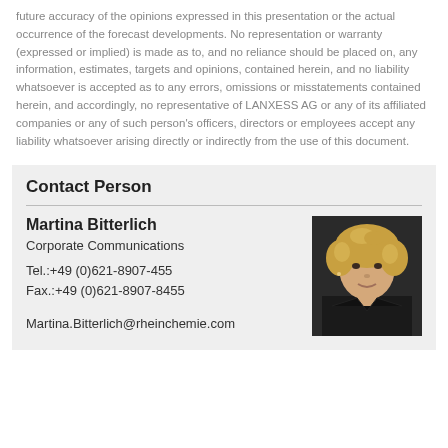future accuracy of the opinions expressed in this presentation or the actual occurrence of the forecast developments. No representation or warranty (expressed or implied) is made as to, and no reliance should be placed on, any information, estimates, targets and opinions, contained herein, and no liability whatsoever is accepted as to any errors, omissions or misstatements contained herein, and accordingly, no representative of LANXESS AG or any of its affiliated companies or any of such person's officers, directors or employees accept any liability whatsoever arising directly or indirectly from the use of this document.
Contact Person
Martina Bitterlich
Corporate Communications
Tel.:+49 (0)621-8907-455
Fax.:+49 (0)621-8907-8455
Martina.Bitterlich@rheinchemie.com
[Figure (photo): Professional headshot of Martina Bitterlich, a woman with curly blonde hair wearing a dark jacket, against a dark background.]